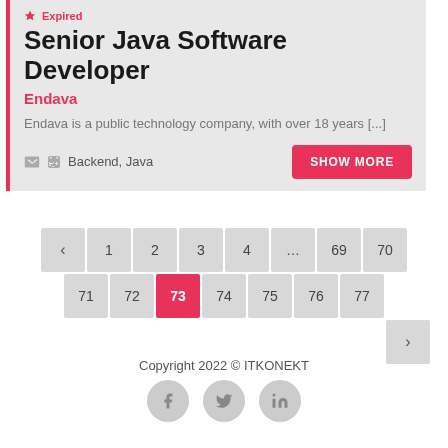Expired
Senior Java Software Developer
Endava
Endava is a public technology company, with over 18 years [...]
Backend, Java
SHOW MORE
‹ 1 2 3 4 … 69 70
71 72 73 74 75 76 77
›
Copyright 2022 © ITKONEKT